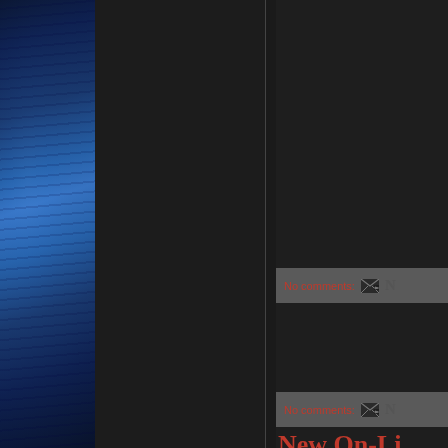[Figure (photo): Dark blue draped fabric/curtain on left side of the page, partially cropped]
No comments:
Tuesday, 23 July 2013
New On-Li
Please check out our new c
It should make buying stuf
http://scentertainment.tict
No comments: